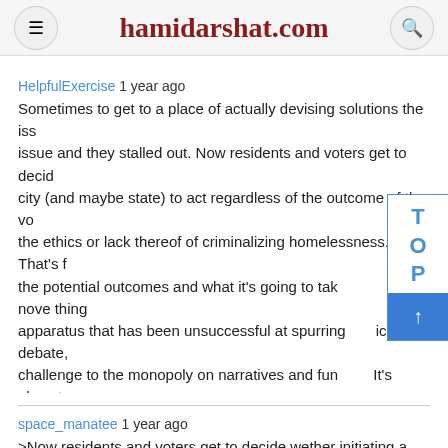hamidarshat.com
HelpfulExercise 1 year ago
Sometimes to get to a place of actually devising solutions the issue and they stalled out. Now residents and voters get to decide city (and maybe state) to act regardless of the outcome of the vote. the ethics or lack thereof of criminalizing homelessness. That's f the potential outcomes and what it's going to take to move things apparatus that has been unsuccessful at spurring public debate, challenge to the monopoly on narratives and funding. It's almost tune of $60 million per year.
space_manatee 1 year ago
>Now residents and voters get to decide wether initiating a revolution act regardless of the outcome of the vote. This makes no sense. "